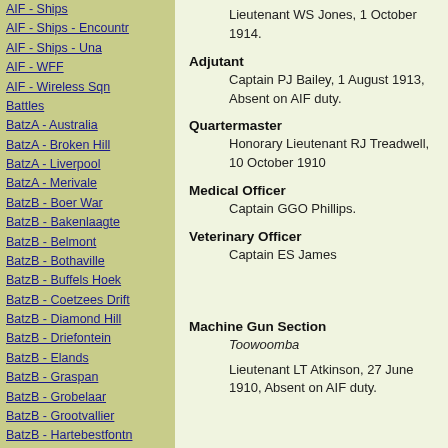AIF - Ships
AIF - Ships - Encountr
AIF - Ships - Una
AIF - WFF
AIF - Wireless Sqn
Battles
BatzA - Australia
BatzA - Broken Hill
BatzA - Liverpool
BatzA - Merivale
BatzB - Boer War
BatzB - Bakenlaagte
BatzB - Belmont
BatzB - Bothaville
BatzB - Buffels Hoek
BatzB - Coetzees Drift
BatzB - Diamond Hill
BatzB - Driefontein
BatzB - Elands
BatzB - Graspan
BatzB - Grobelaar
BatzB - Grootvallier
BatzB - Hartebestfontn
BatzB - Houtnek
BatzB - Karee Siding
BatzB - Kimberley
BatzB - Koster River
BatzB - Leeuw Kop
Lieutenant WS Jones, 1 October 1914.
Adjutant
Captain PJ Bailey, 1 August 1913, Absent on AIF duty.
Quartermaster
Honorary Lieutenant RJ Treadwell, 10 October 1910
Medical Officer
Captain GGO Phillips.
Veterinary Officer
Captain ES James
Machine Gun Section
Toowoomba
Lieutenant LT Atkinson, 27 June 1910, Absent on AIF duty.